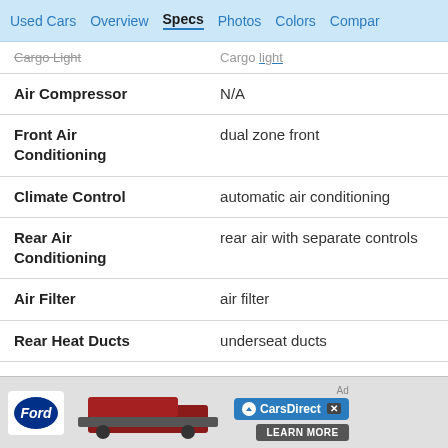Used Cars  Overview  Specs  Photos  Colors  Compare
| Feature | Value |
| --- | --- |
| Cargo Light | Cargo light |
| Air Compressor | N/A |
| Front Air Conditioning | dual zone front |
| Climate Control | automatic air conditioning |
| Rear Air Conditioning | rear air with separate controls |
| Air Filter | air filter |
| Rear Heat Ducts | underseat ducts |
| Automatic Air Recirculation | N/A |
| Rear Heater | N/A |
[Figure (screenshot): Ford truck advertisement banner with Ford logo, red F-150 truck image, CarsDirect logo and Learn More button]